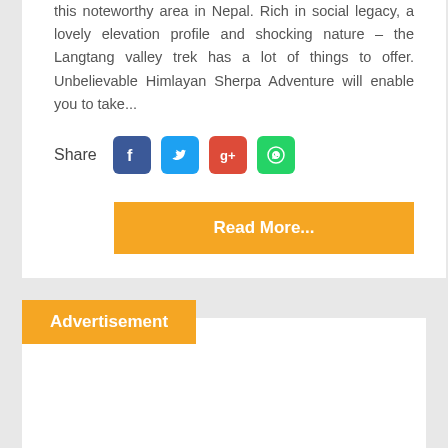this noteworthy area in Nepal. Rich in social legacy, a lovely elevation profile and shocking nature – the Langtang valley trek has a lot of things to offer. Unbelievable Himlayan Sherpa Adventure will enable you to take...
Share [Facebook] [Twitter] [Google+] [WhatsApp]
Read More...
Advertisement